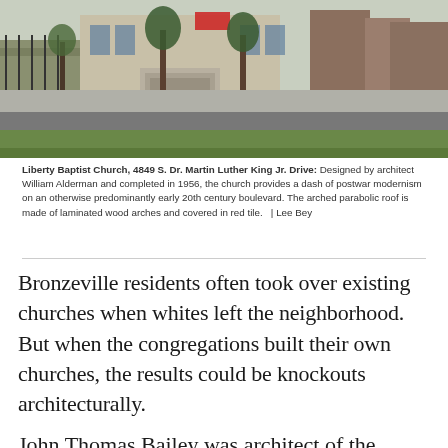[Figure (photo): Exterior street-level photograph of Liberty Baptist Church at 4849 S. Dr. Martin Luther King Jr. Drive, showing a mid-century modern building with trees and a grassy foreground, parking lot in the foreground, red-brick buildings visible in the background.]
Liberty Baptist Church, 4849 S. Dr. Martin Luther King Jr. Drive: Designed by architect William Alderman and completed in 1956, the church provides a dash of postwar modernism on an otherwise predominantly early 20th century boulevard. The arched parabolic roof is made of laminated wood arches and covered in red tile.  | Lee Bey
Bronzeville residents often took over existing churches when whites left the neighborhood. But when the congregations built their own churches, the results could be knockouts architecturally.
John Thomas Bailey was architect of the